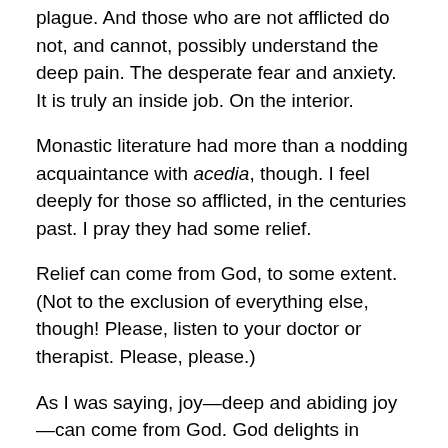plague. And those who are not afflicted do not, and cannot, possibly understand the deep pain. The desperate fear and anxiety. It is truly an inside job. On the interior.
Monastic literature had more than a nodding acquaintance with acedia, though. I feel deeply for those so afflicted, in the centuries past. I pray they had some relief.
Relief can come from God, to some extent. (Not to the exclusion of everything else, though! Please, listen to your doctor or therapist. Please, please.)
As I was saying, joy—deep and abiding joy—can come from God. God delights in giving joy to God's children. One of the compilers of this book of December meditations writes, “The joy of the Lord has gone through the poverty of the manger and the distress of the cross.” [1]